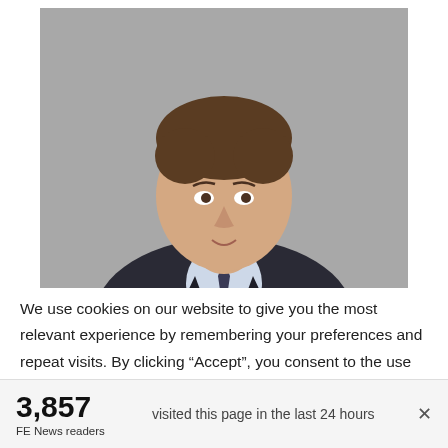[Figure (photo): Official portrait-style photo of a man in a dark suit and tie against a grey background, looking slightly to the left with a subtle smile.]
We use cookies on our website to give you the most relevant experience by remembering your preferences and repeat visits. By clicking “Accept”, you consent to the use of ALL the cookies. However you may visit Cookie
3,857 FE News readers   visited this page in the last 24 hours